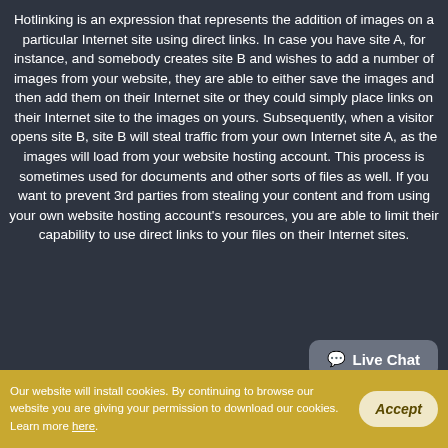Hotlinking is an expression that represents the addition of images on a particular Internet site using direct links. In case you have site A, for instance, and somebody creates site B and wishes to add a number of images from your website, they are able to either save the images and then add them on their Internet site or they could simply place links on their Internet site to the images on yours. Subsequently, when a visitor opens site B, site B will steal traffic from your own Internet site A, as the images will load from your website hosting account. This process is sometimes used for documents and other sorts of files as well. If you want to prevent 3rd parties from stealing your content and from using your own website hosting account's resources, you are able to limit their capability to use direct links to your files on their Internet sites.
[Figure (other): Live Chat button widget in dark gray with speech bubble icon]
Our website will install cookies. By continuing to browse our website you are giving your permission to download our cookies. Learn more here.